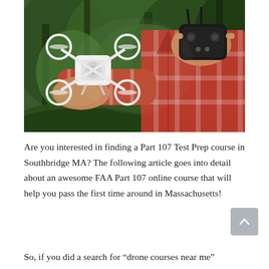[Figure (photo): A person in a red plaid shirt holding a small white quadcopter drone in one hand and a remote controller in the other hand, outdoors with green forest/trees in the background.]
Are you interested in finding a Part 107 Test Prep course in Southbridge MA? The following article goes into detail about an awesome FAA Part 107 online course that will help you pass the first time around in Massachusetts!
So, if you did a search for “drone courses near me” or